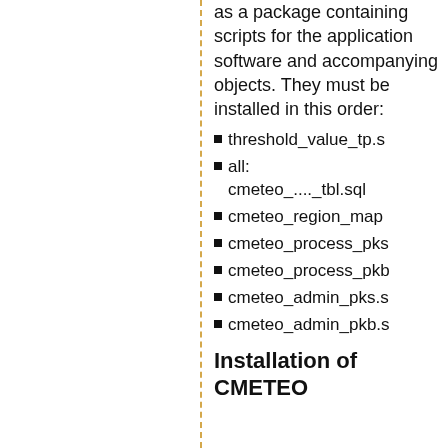as a package containing scripts for the application software and accompanying objects. They must be installed in this order:
threshold_value_tp.s
all: cmeteo_...._tbl.sql
cmeteo_region_map
cmeteo_process_pks
cmeteo_process_pkb
cmeteo_admin_pks.s
cmeteo_admin_pkb.s
Installation of CMETEO